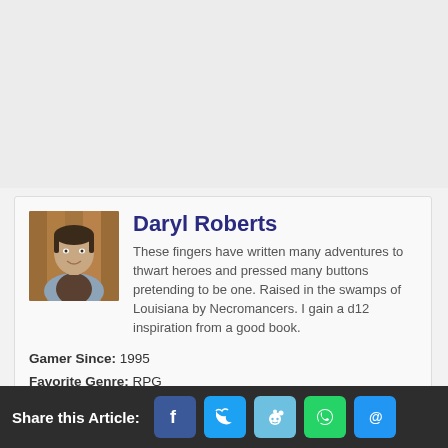[Figure (photo): Profile photo of Daryl Roberts, a man wearing a vest, standing in front of a wooden background]
Daryl Roberts
These fingers have written many adventures to thwart heroes and pressed many buttons pretending to be one. Raised in the swamps of Louisiana by Necromancers. I gain a d12 inspiration from a good book.
Gamer Since: 1995
Favorite Genre: RPG
Currently Playing: Star Wars: Jedi Fallen Order
Top 3 Favorite Games: Dark Souls 3 , Call of Duty: World at War, Prototype
Share this Article: